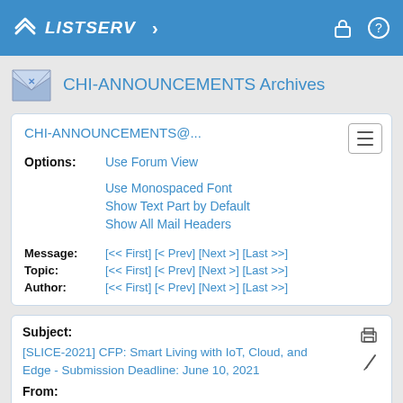LISTSERV
CHI-ANNOUNCEMENTS Archives
CHI-ANNOUNCEMENTS@...
Options: Use Forum View
Use Monospaced Font
Show Text Part by Default
Show All Mail Headers
Message: [<< First] [< Prev] [Next >] [Last >>]
Topic: [<< First] [< Prev] [Next >] [Last >>]
Author: [<< First] [< Prev] [Next >] [Last >>]
Subject: [SLICE-2021] CFP: Smart Living with IoT, Cloud, and Edge - Submission Deadline: June 10, 2021
From: